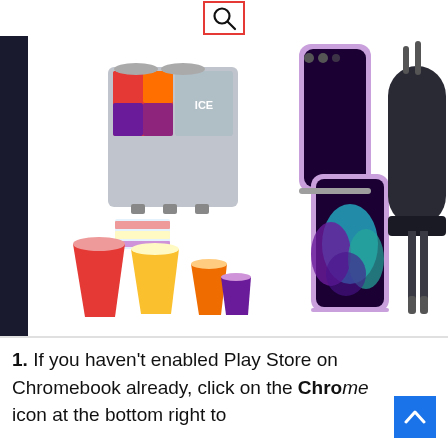[Figure (screenshot): Search icon (magnifying glass) inside a red-bordered box at the top center of the page]
[Figure (photo): Product image strip showing: a dark left sidebar panel, a colorful slush/juice machine with cups, a Samsung Galaxy Z Flip3 smartphone in purple/lavender color open and closed, and a partial view of a dark outdoor grill on the right.]
1. If you haven't enabled Play Store on Chromebook already, click on the Chrome icon at the bottom right to